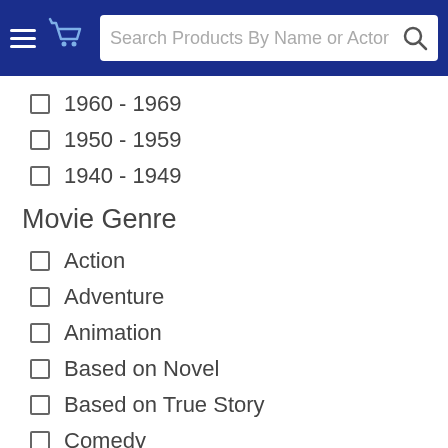Search Products By Name or Actor
1960 - 1969
1950 - 1959
1940 - 1949
Movie Genre
Action
Adventure
Animation
Based on Novel
Based on True Story
Comedy
Crime
Family
Fantasy
Foreign Movie
Historical